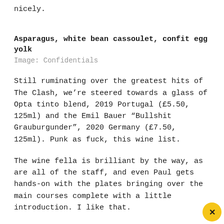nicely.
Asparagus, white bean cassoulet, confit egg yolk
Image: Confidentials
Still ruminating over the greatest hits of The Clash, we’re steered towards a glass of Opta tinto blend, 2019 Portugal (£5.50, 125ml) and the Emil Bauer “Bullshit Grauburgunder”, 2020 Germany (£7.50, 125ml). Punk as fuck, this wine list.
The wine fella is brilliant by the way, as are all of the staff, and even Paul gets hands-on with the plates bringing over the main courses complete with a little introduction. I like that.
Claremont’s asparagus pops up again with roast halibut (£24). Perfectly seasoned, the f